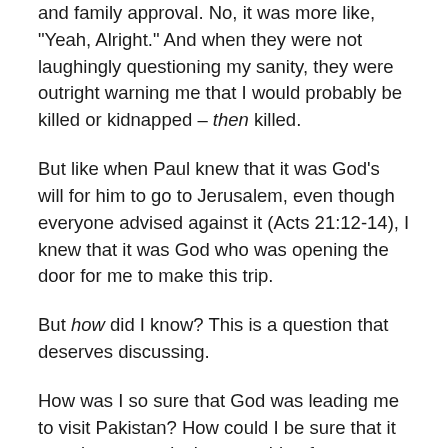and family approval. No, it was more like, "Yeah, Alright." And when they were not laughingly questioning my sanity, they were outright warning me that I would probably be killed or kidnapped – then killed.
But like when Paul knew that it was God's will for him to go to Jerusalem, even though everyone advised against it (Acts 21:12-14), I knew that it was God who was opening the door for me to make this trip.
But how did I know? This is a question that deserves discussing.
How was I so sure that God was leading me to visit Pakistan? How could I be sure that it wasn't my own desires, my thirst for adventure, or some deep-seated need to prove myself? Granted, the adventure was compelling and there was certainly a need to prove